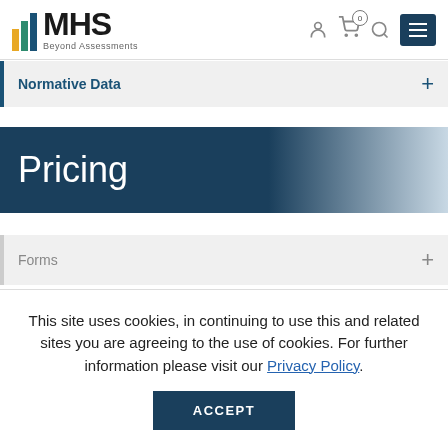MHS Beyond Assessments
Normative Data
Pricing
Forms
This site uses cookies, in continuing to use this and related sites you are agreeing to the use of cookies. For further information please visit our Privacy Policy.